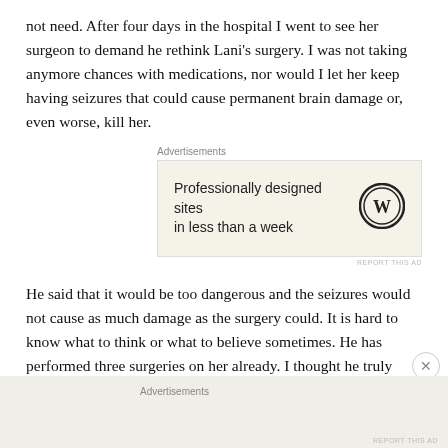not need. After four days in the hospital I went to see her surgeon to demand he rethink Lani's surgery. I was not taking anymore chances with medications, nor would I let her keep having seizures that could cause permanent brain damage or, even worse, kill her.
Advertisements
[Figure (other): Advertisement box with text 'Professionally designed sites in less than a week' and WordPress logo]
He said that it would be too dangerous and the seizures would not cause as much damage as the surgery could. It is hard to know what to think or what to believe sometimes. He has performed three surgeries on her already. I thought he truly cared; he is an accredited brain surgeon. I said I would try one
Advertisements